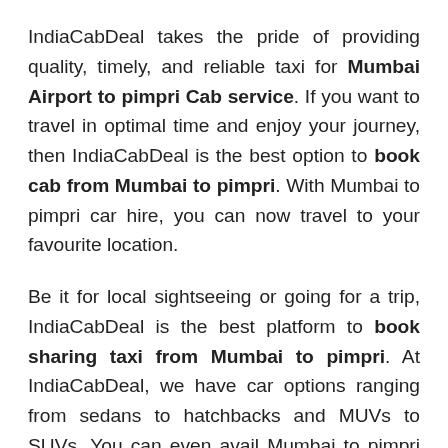IndiaCabDeal takes the pride of providing quality, timely, and reliable taxi for Mumbai Airport to pimpri Cab service. If you want to travel in optimal time and enjoy your journey, then IndiaCabDeal is the best option to book cab from Mumbai to pimpri. With Mumbai to pimpri car hire, you can now travel to your favourite location.
Be it for local sightseeing or going for a trip, IndiaCabDeal is the best platform to book sharing taxi from Mumbai to pimpri. At IndiaCabDeal, we have car options ranging from sedans to hatchbacks and MUVs to SUVs. You can even avail Mumbai to pimpri Innova package based on your needs. At Indiacabs, you will find affordable Mumbai